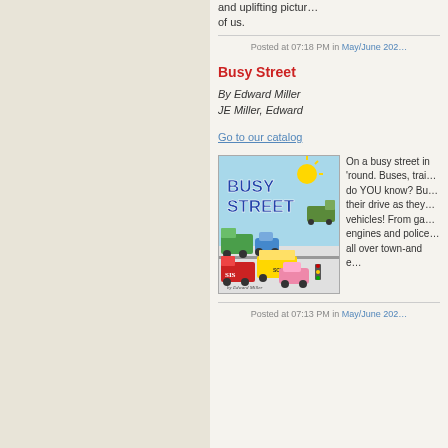and uplifting pictur... of us.
Posted at 07:18 PM in May/June 202...
Busy Street
By Edward Miller
JE Miller, Edward
Go to our catalog
[Figure (illustration): Book cover of 'Busy Street' by Edward Miller, showing colorful cartoon vehicles including a garbage truck, blue car, school bus, fire engine, and pink car on a busy street scene with a sun and crocodile driving a vehicle]
On a busy street in... 'round. Buses, trai... do YOU know? Bu... their drive as they... vehicles! From ga... engines and police... all over town-and e...
Posted at 07:13 PM in May/June 202...